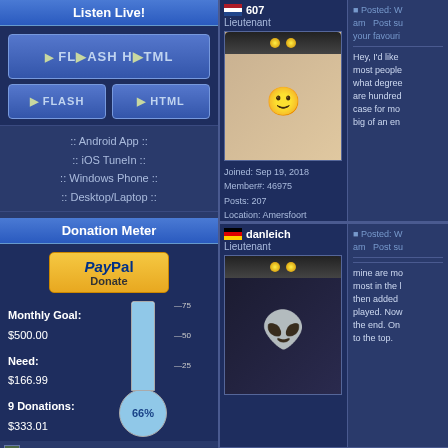Listen Live!
:: Android App :: :: iOS TuneIn :: :: Windows Phone :: :: Desktop/Laptop ::
Donation Meter
[Figure (infographic): Donation thermometer showing 66% of monthly goal filled with light blue. Thermometer bulb shows 66%. Scale marks at 25, 50, 75.]
Monthly Goal: $500.00
Need: $166.99
9 Donations: $333.01
| Icon | Name | Amount |
| --- | --- | --- |
| SST | martino | $22.23 |
| (icon) | krazyormus | $50.00 |
| SST | molossus | $10.00 |
607
Lieutenant
[Figure (photo): Photo of a yellow smiley face plush toy dressed in a floral outfit, next to a potted green plant, with string lights in the background.]
Joined: Sep 19, 2018
Member#: 46975
Posts: 207
Location: Amersfoort
Posted: W am   Post su your favouri
Hey, I'd like most people what degree are hundred case for mo big of an en
danleich
Lieutenant
[Figure (photo): Avatar image of an alien character with large eyes wearing a white garment, from a sci-fi setting.]
Posted: W am   Post su
mine are mo most in the l then added played. Now the end. On to the top.